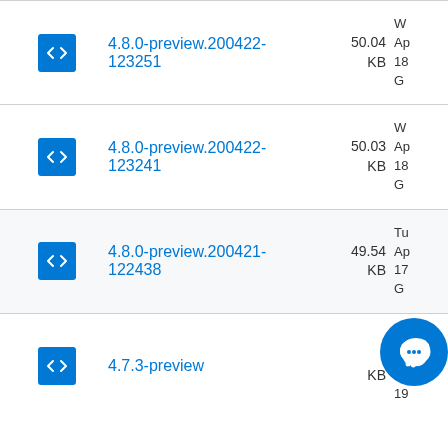4.8.0-preview.200422-123251 | 50.04 KB | W... Ap... 18... G...
4.8.0-preview.200422-123241 | 50.03 KB | W... Ap... 18... G...
4.8.0-preview.200421-122438 | 49.54 KB | Tu... Ap... 17... G...
4.7.3-preview | KB | Tu... N... 20... 19...